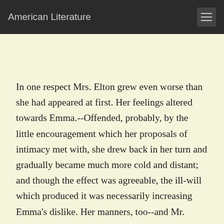American Literature
In one respect Mrs. Elton grew even worse than she had appeared at first. Her feelings altered towards Emma.--Offended, probably, by the little encouragement which her proposals of intimacy met with, she drew back in her turn and gradually became much more cold and distant; and though the effect was agreeable, the ill-will which produced it was necessarily increasing Emma's dislike. Her manners, too--and Mr. Elton's, were unpleasant